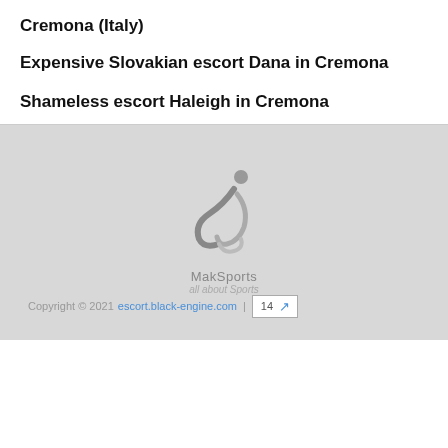Cremona (Italy)
Expensive Slovakian escort Dana in Cremona
Shameless escort Haleigh in Cremona
[Figure (logo): MakSports logo with stylized figure and text 'MakSports all about Sports']
Copyright © 2021 escort.black-engine.com | 14 ↗